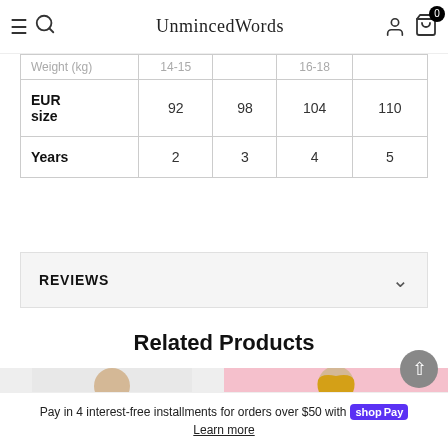UnmincedWords
|  |  |  |  |  |
| --- | --- | --- | --- | --- |
| Weight (kg) | 14-15 |  | 16-18 |  |
| EUR size | 92 | 98 | 104 | 110 |
| Years | 2 | 3 | 4 | 5 |
REVIEWS
Related Products
[Figure (photo): Two product photos showing sweatshirts: left is grey/white with skull Santa graphic, right is pink with skull Santa graphic]
Pay in 4 interest-free installments for orders over $50 with shop Pay
Learn more